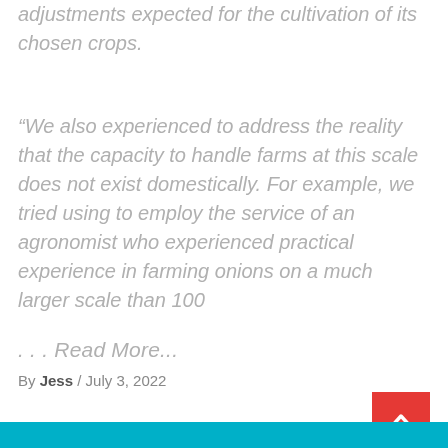adjustments expected for the cultivation of its chosen crops.
“We also experienced to address the reality that the capacity to handle farms at this scale does not exist domestically. For example, we tried using to employ the service of an agronomist who experienced practical experience in farming onions on a much larger scale than 100
... Read More...
By Jess / July 3, 2022
[Figure (other): Red back-to-top button with upward chevron arrow]
[Figure (other): Teal/cyan colored bottom bar, partially visible]